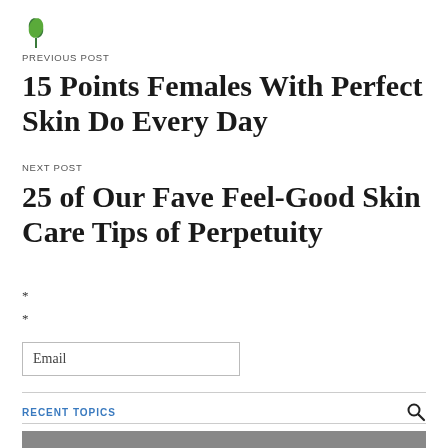[Figure (logo): Green leaf logo icon]
PREVIOUS POST
15 Points Females With Perfect Skin Do Every Day
NEXT POST
25 of Our Fave Feel-Good Skin Care Tips of Perpetuity
*
*
Email
RECENT TOPICS
[Figure (photo): Bottom strip of a photo showing people]